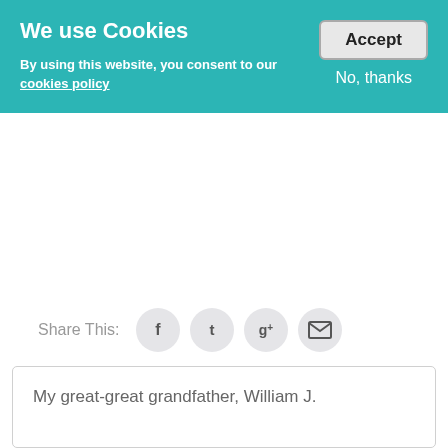We use Cookies
By using this website, you consent to our cookies policy
Accept
No, thanks
Share This:
[Figure (infographic): Social share buttons: Facebook (f), Twitter (t), Google+ (g+), Email (envelope icon)]
My great-great grandfather, William J.